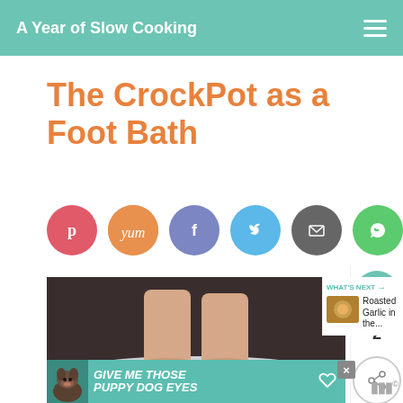A Year of Slow Cooking
The CrockPot as a Foot Bath
[Figure (infographic): Social sharing buttons row: Pinterest (pink), Yumly (orange), Facebook (blue-purple), Twitter (light blue), Email (gray), WhatsApp (green)]
[Figure (photo): Feet soaking in a black CrockPot slow cooker filled with foamy/bubbly water, viewed from above]
[Figure (screenshot): Ad banner with teal background showing a dog and text GIVE ME THOSE PUPPY DOG EYES with a close X button]
[Figure (infographic): WHAT'S NEXT panel showing thumbnail of Roasted Garlic in the... with a heart count of 2 and share button]